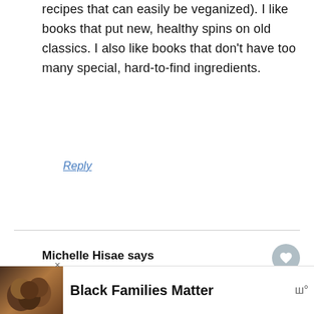recipes that can easily be veganized). I like books that put new, healthy spins on old classics. I also like books that don't have too many special, hard-to-find ingredients.
Reply
Michelle Hisae says
February 23, 2009 at 10:59 am
First off, a cookbook written by YOU be so great! And here are a few of my
[Figure (infographic): What's Next overlay with food image thumbnail and text 'Over The Top']
[Figure (infographic): Black Families Matter advertisement banner with photo of smiling family]